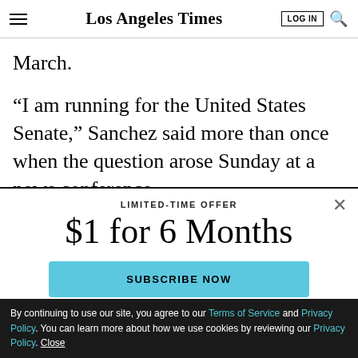Los Angeles Times
March.
“I am running for the United States Senate,” Sanchez said more than once when the question arose Sunday at a news conference.
LIMITED-TIME OFFER
$1 for 6 Months
SUBSCRIBE NOW
By continuing to use our site, you agree to our Terms of Service and Privacy Policy. You can learn more about how we use cookies by reviewing our Privacy Policy. Close